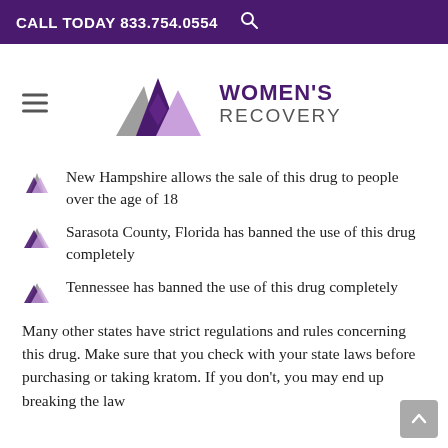CALL TODAY 833.754.0554
[Figure (logo): Women's Recovery logo with three mountain triangles in gray, purple, and lavender, and bold text WOMEN'S RECOVERY]
New Hampshire allows the sale of this drug to people over the age of 18
Sarasota County, Florida has banned the use of this drug completely
Tennessee has banned the use of this drug completely
Many other states have strict regulations and rules concerning this drug. Make sure that you check with your state laws before purchasing or taking kratom. If you don't, you may end up breaking the law